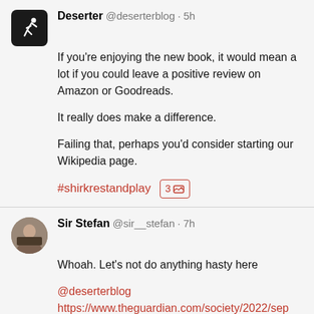Deserter @deserterblog · 5h
If you're enjoying the new book, it would mean a lot if you could leave a positive review on Amazon or Goodreads.

It really does make a difference.

Failing that, perhaps you'd consider starting our Wikipedia page.

#shirkrestandplay  3 [image]
Sir Stefan @sir__stefan · 7h
Whoah. Let's not do anything hasty here @deserterblog https://www.theguardian.com/society/2022/sep res...
Caspar Addyman 🎵🎵 @czzpr · 15h